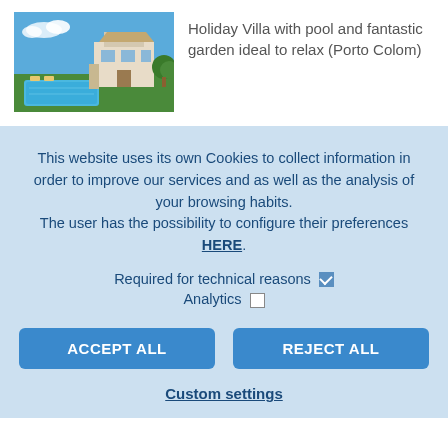[Figure (photo): Holiday villa with swimming pool, garden, and blue sky]
Holiday Villa with pool and fantastic garden ideal to relax (Porto Colom)
This website uses its own Cookies to collect information in order to improve our services and as well as the analysis of your browsing habits. The user has the possibility to configure their preferences HERE.
Required for technical reasons ☑ Analytics ☐
ACCEPT ALL   REJECT ALL
Custom settings